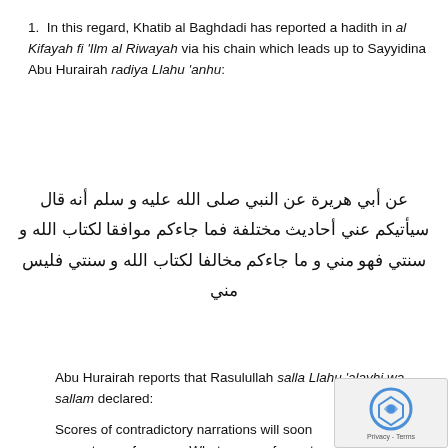In this regard, Khatib al Baghdadi has reported a hadith in al Kifayah fi 'Ilm al Riwayah via his chain which leads up to Sayyidina Abu Hurairah radiya Llahu 'anhu:
عن أبي هريرة عن النبي صلى الله عليه و سلم أنه قال سيأتيكم عني أحاديث مختلفة فما جاءكم موافقا لكتاب الله و سنتي فهو مني و ما جاءكم مخالفا لكتاب الله و سنتي فليس مني
Abu Hurairah reports that Rasulullah salla Llahu 'alayhi wa sallam declared:
Scores of contradictory narrations will soon come to you from me. Whatever conforms to the Book of Allah and my Sunnah is from me and whatever contradicts the Book of Allah and my Sunnah is not from me.[1]